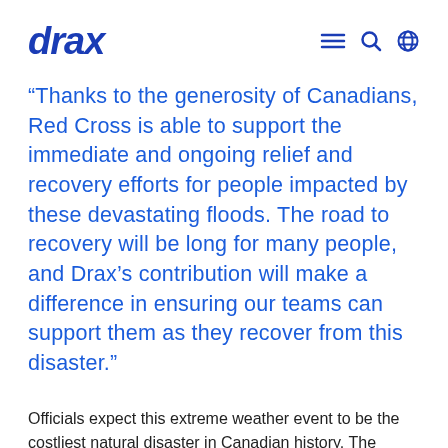drax
“Thanks to the generosity of Canadians, Red Cross is able to support the immediate and ongoing relief and recovery efforts for people impacted by these devastating floods. The road to recovery will be long for many people, and Drax’s contribution will make a difference in ensuring our teams can support them as they recover from this disaster.”
Officials expect this extreme weather event to be the costliest natural disaster in Canadian history. The Canadian Red Cross is working alongside First Nations